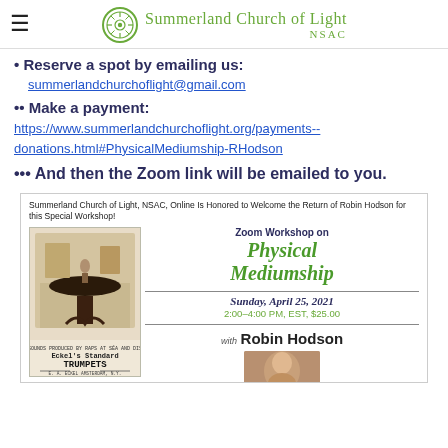Summerland Church of Light NSAC
• Reserve a spot by emailing us:
summerlandchurchoflight@gmail.com
•• Make a payment:
https://www.summerlandchurchoflight.org/payments--donations.html#PhysicalMediumship-RHodson
••• And then the Zoom link will be emailed to you.
[Figure (illustration): Flyer for Summerland Church of Light NSAC Zoom Workshop on Physical Mediumship with Robin Hodson, Sunday April 25 2021, 2:00-4:00 PM EST $25.00, featuring an antique séance table image and portrait of Robin Hodson]